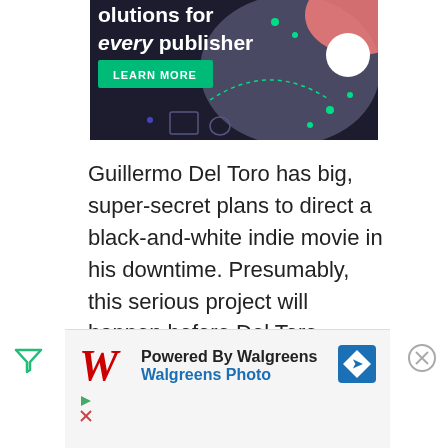[Figure (screenshot): Advertisement banner with dark background showing partial text 'olutions for every publisher' with a green LEARN MORE button, decorative pink and gray blobs, white circle, and green dot patterns]
Guillermo Del Toro has big, super-secret plans to direct a black-and-white indie movie in his downtime. Presumably, this serious project will happen before Del Toro
[Figure (screenshot): Bottom advertisement for Walgreens Photo showing the Walgreens cursive logo in red, 'Powered By Walgreens' in bold and 'Walgreens Photo' in blue, with a blue directions icon on the right]